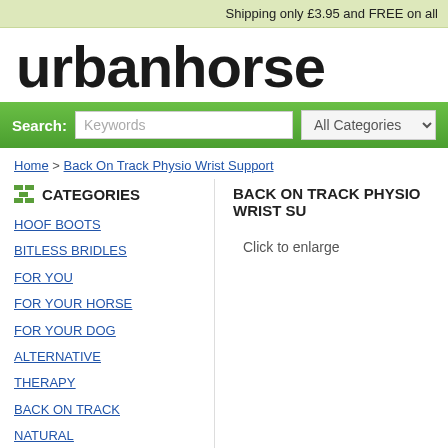Shipping only £3.95 and FREE on all
urbanhorse
Search: Keywords   All Categories
Home > Back On Track Physio Wrist Support
CATEGORIES
HOOF BOOTS
BITLESS BRIDLES
FOR YOU
FOR YOUR HORSE
FOR YOUR DOG
ALTERNATIVE THERAPY
BACK ON TRACK
NATURAL HORSEMANSHIP
FOR THE STABLE YARD
BOOKS & DVD'S
BLOG / NEWS
BACK ON TRACK PHYSIO WRIST SU
Click to enlarge